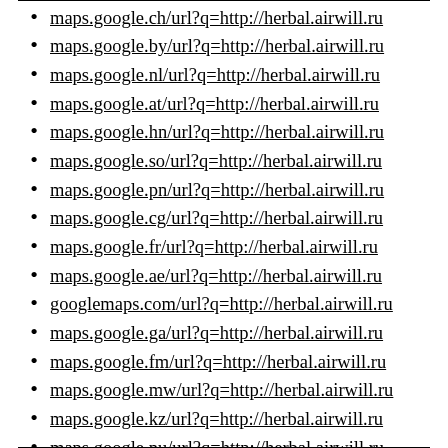maps.google.ch/url?q=http://herbal.airwill.ru
maps.google.by/url?q=http://herbal.airwill.ru
maps.google.nl/url?q=http://herbal.airwill.ru
maps.google.at/url?q=http://herbal.airwill.ru
maps.google.hn/url?q=http://herbal.airwill.ru
maps.google.so/url?q=http://herbal.airwill.ru
maps.google.pn/url?q=http://herbal.airwill.ru
maps.google.cg/url?q=http://herbal.airwill.ru
maps.google.fr/url?q=http://herbal.airwill.ru
maps.google.ae/url?q=http://herbal.airwill.ru
googlemaps.com/url?q=http://herbal.airwill.ru
maps.google.ga/url?q=http://herbal.airwill.ru
maps.google.fm/url?q=http://herbal.airwill.ru
maps.google.mw/url?q=http://herbal.airwill.ru
maps.google.kz/url?q=http://herbal.airwill.ru
maps.google.nu/url?q=http://herbal.airwill.ru
maps.google.se/url?q=http://herbal.airwill.ru
maps.google.sn/url?q=http://herbal.airwill.ru
maps.google.tt/url?q=http://herbal.airwill.ru